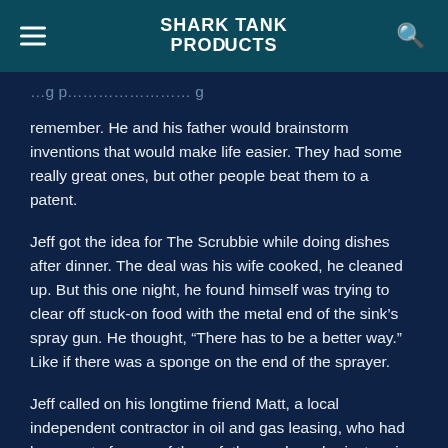SHARK TANK PRODUCTS
remember. He and his father would brainstorm inventions that would make life easier. They had some really great ones, but other people beat them to a patent.
Jeff got the idea for The Scrubbie while doing dishes after dinner. The deal was his wife cooked, he cleaned up. But this one night, he found himself was trying to clear off stuck-on food with the metal end of the sink’s spray gun. He thought, “There has to be a better way.” Like if there was a sponge on the end of the sprayer.
Jeff called on his longtime friend Matt, a local independent contractor in oil and gas leasing, who had been part of some of those father and son brainstorming